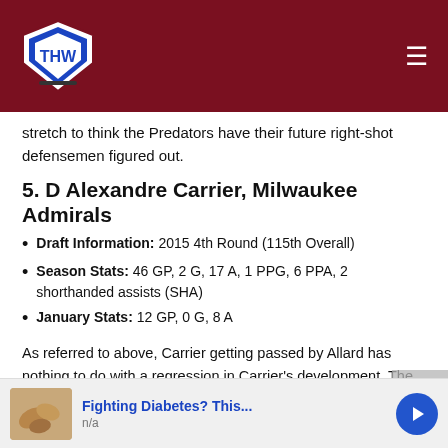THW hockey website header bar with logo and hamburger menu
stretch to think the Predators have their future right-shot defensemen figured out.
5. D Alexandre Carrier, Milwaukee Admirals
Draft Information: 2015 4th Round (115th Overall)
Season Stats: 46 GP, 2 G, 17 A, 1 PPG, 6 PPA, 2 shorthanded assists (SHA)
January Stats: 12 GP, 0 G, 8 A
As referred to above, Carrier getting passed by Allard has nothing to do with a regression in Carrier's development. The right-shot blueliner may be slightly smaller at 5-foot-11 and
[Figure (screenshot): Advertisement banner: Fighting Diabetes? This... n/a with cashew image and blue arrow button]